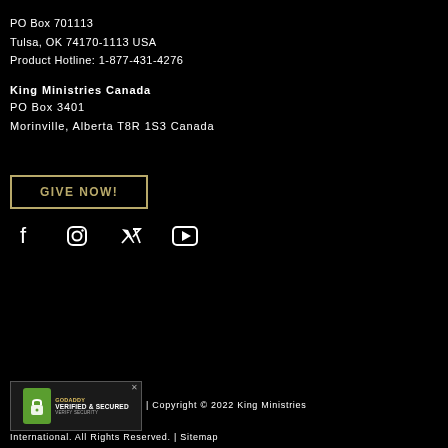PO Box 701113
Tulsa, OK 74170-1113 USA
Product Hotline: 1-877-431-4276
King Ministries Canada
PO Box 3401
Morinville, Alberta T8R 1S3 Canada
[Figure (other): GIVE NOW! button with gold/tan border]
[Figure (other): Social media icons: Facebook, Instagram, Twitter, YouTube]
[Figure (other): GoDaddy Verified & Secured badge]
| Copyright © 2022 King Ministries International. All Rights Reserved. | Sitemap